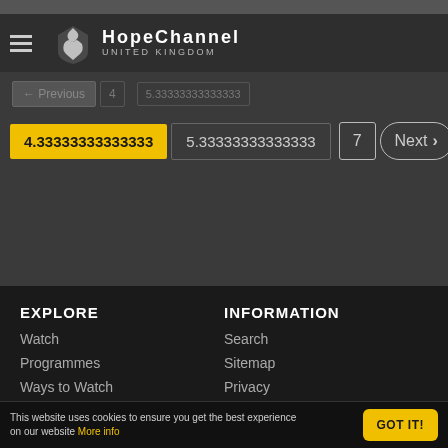[Figure (screenshot): Hope Channel United Kingdom website navigation screenshot showing pagination controls, logo with hamburger menu, and page numbers including 4.3333333333333 (active, yellow), 5.3333333333333, 7, and Next button]
EXPLORE
INFORMATION
Watch
Search
Programmes
Sitemap
Ways to Watch
Privacy
Contact
Terms of use
This website uses cookies to ensure you get the best experience on our website More info